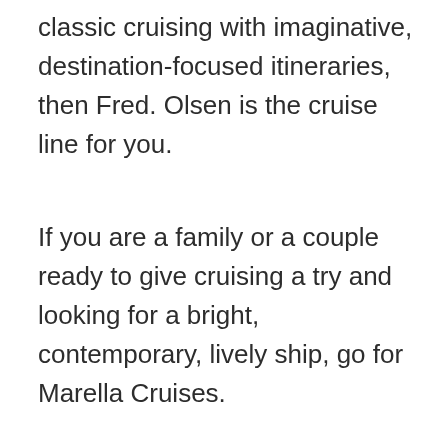classic cruising with imaginative, destination-focused itineraries, then Fred. Olsen is the cruise line for you.
If you are a family or a couple ready to give cruising a try and looking for a bright, contemporary, lively ship, go for Marella Cruises.
Fred. Olsen Cruise Reviews
Marella Cruise Reviews